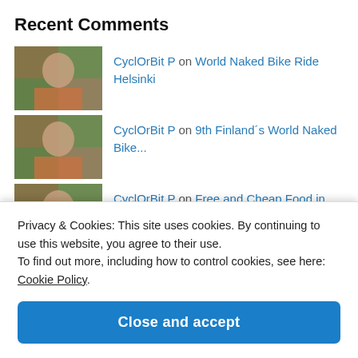Recent Comments
CyclOrBit P on World Naked Bike Ride Helsinki
CyclOrBit P on 9th Finland´s World Naked Bike...
CyclOrBit P on Free and Cheap Food in Helsinki...
...on Free and Cheap Food in Helsi... (partial)
Privacy & Cookies: This site uses cookies. By continuing to use this website, you agree to their use. To find out more, including how to control cookies, see here: Cookie Policy.
Close and accept